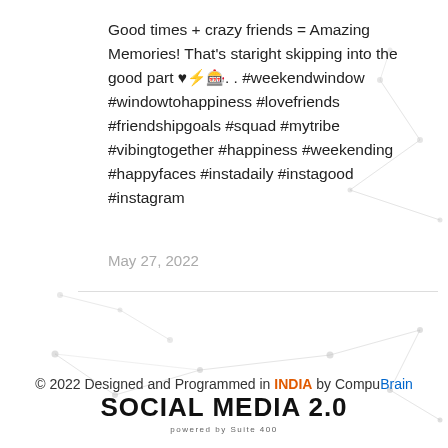Good times + crazy friends = Amazing Memories! That's staright skipping into the good part ♥⚡🎰. . #weekendwindow #windowtohappiness #lovefriends #friendshipgoals #squad #mytribe #vibingtogether #happiness #weekending #happyfaces #instadaily #instagood #instagram
May 27, 2022
© 2022 Designed and Programmed in INDIA by CompuBrain
SOCIAL MEDIA 2.0